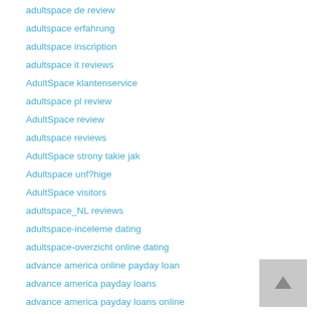adultspace de review
adultspace erfahrung
adultspace inscription
adultspace it reviews
AdultSpace klantenservice
adultspace pl review
AdultSpace review
adultspace reviews
AdultSpace strony takie jak
Adultspace unf?hige
AdultSpace visitors
adultspace_NL reviews
adultspace-inceleme dating
adultspace-overzicht online dating
advance america online payday loan
advance america payday loans
advance america payday loans online